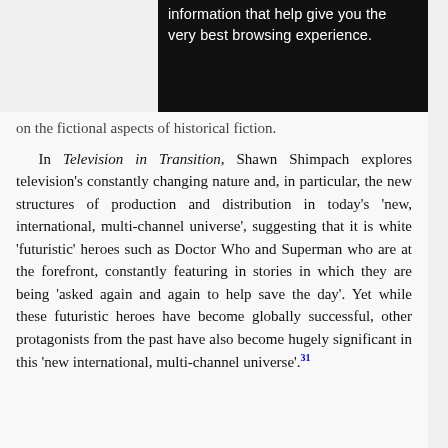[Figure (screenshot): Black overlay box with white text reading 'information that help give you the very best browsing experience.']
on the fictional aspects of historical fiction.
In Television in Transition, Shawn Shimpach explores television's constantly changing nature and, in particular, the new structures of production and distribution in today's 'new, international, multi-channel universe', suggesting that it is white 'futuristic' heroes such as Doctor Who and Superman who are at the forefront, constantly featuring in stories in which they are being 'asked again and again to help save the day'. Yet while these futuristic heroes have become globally successful, other protagonists from the past have also become hugely significant in this 'new international, multi-channel universe'.31